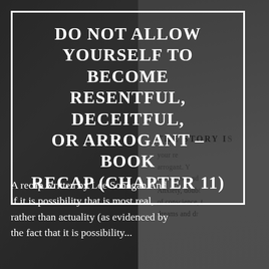[Figure (photo): A dark, moodily lit composite image: the left half shows an old illustration or engraving of a figure (possibly mythological), and the right half shows an open book with printed text including 'THE STORY IS' and partial sentences about anxiety, doubt, conscience, dreams.]
DO NOT ALLOW YOURSELF TO BECOME RESENTFUL, DECEITFUL, OR ARROGANT – BOOK RECAP (CHAPTER 11)
A recap written by Lee Sonogan And if it is possibility that is most real, rather than actuality (as evidenced by the fact that it is possibility...